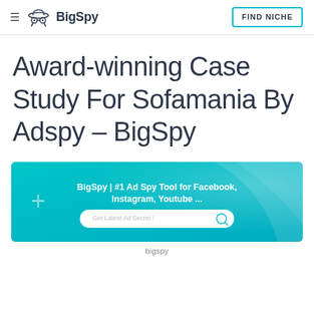BigSpy | FIND NICHE
Award-winning Case Study For Sofamania By Adspy – BigSpy
[Figure (screenshot): BigSpy website banner showing '#1 Ad Spy Tool for Facebook, Instagram, Youtube ...' with a teal/cyan gradient background, a search bar with placeholder text 'Get Latest Ad Secret!', and a search icon.]
bigspy